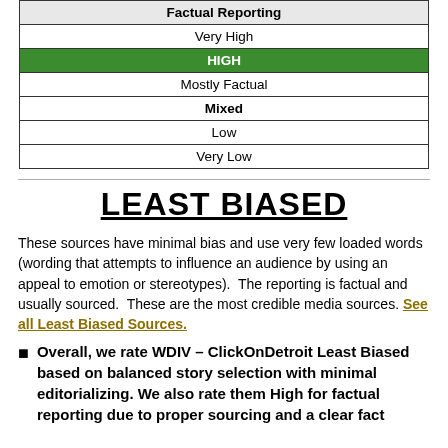| Factual Reporting |
| --- |
| Very High |
| HIGH |
| Mostly Factual |
| Mixed |
| Low |
| Very Low |
LEAST BIASED
These sources have minimal bias and use very few loaded words (wording that attempts to influence an audience by using an appeal to emotion or stereotypes).  The reporting is factual and usually sourced.  These are the most credible media sources. See all Least Biased Sources.
Overall, we rate WDIV – ClickOnDetroit Least Biased based on balanced story selection with minimal editorializing. We also rate them High for factual reporting due to proper sourcing and a clear fact